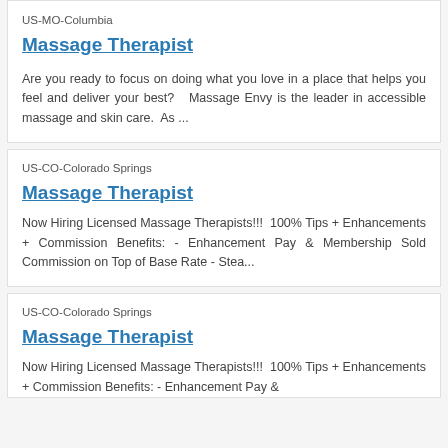US-MO-Columbia
Massage Therapist
Are you ready to focus on doing what you love in a place that helps you feel and deliver your best?   Massage Envy is the leader in accessible massage and skin care.  As ...
US-CO-Colorado Springs
Massage Therapist
Now Hiring Licensed Massage Therapists!!!  100% Tips + Enhancements + Commission Benefits: - Enhancement Pay & Membership Sold Commission on Top of Base Rate - Stea...
US-CO-Colorado Springs
Massage Therapist
Now Hiring Licensed Massage Therapists!!!  100% Tips + Enhancements + Commission Benefits: - Enhancement Pay &